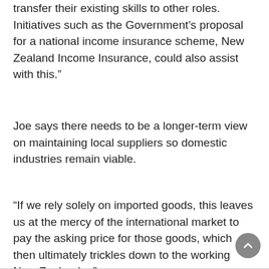transfer their existing skills to other roles. Initiatives such as the Government’s proposal for a national income insurance scheme, New Zealand Income Insurance, could also assist with this.”
Joe says there needs to be a longer-term view on maintaining local suppliers so domestic industries remain viable.
“If we rely solely on imported goods, this leaves us at the mercy of the international market to pay the asking price for those goods, which then ultimately trickles down to the working New Zealander.”